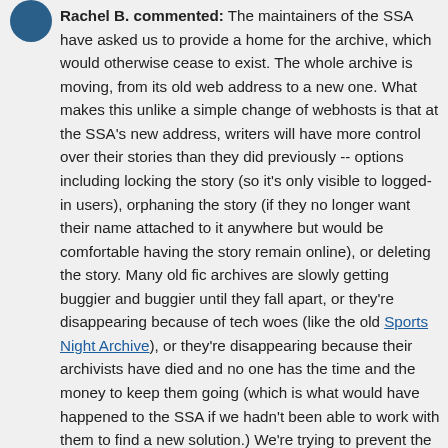Rachel B. commented: The maintainers of the SSA have asked us to provide a home for the archive, which would otherwise cease to exist. The whole archive is moving, from its old web address to a new one. What makes this unlike a simple change of webhosts is that at the SSA's new address, writers will have more control over their stories than they did previously -- options including locking the story (so it's only visible to logged-in users), orphaning the story (if they no longer want their name attached to it anywhere but would be comfortable having the story remain online), or deleting the story. Many old fic archives are slowly getting buggier and buggier until they fall apart, or they're disappearing because of tech woes (like the old Sports Night Archive), or they're disappearing because their archivists have died and no one has the time and the money to keep them going (which is what would have happened to the SSA if we hadn't been able to work with them to find a new solution.) We're trying to prevent the experience of finding story link on a recs page and discovering that the link is dead because the archive vanished. Part of the OTW's mission is providing access to, and preserving the history of, fandom and fanworks. If